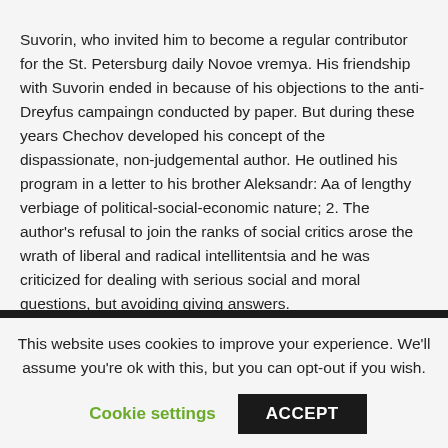Suvorin, who invited him to become a regular contributor for the St. Petersburg daily Novoe vremya. His friendship with Suvorin ended in because of his objections to the anti-Dreyfus campaingn conducted by paper. But during these years Chechov developed his concept of the dispassionate, non-judgemental author. He outlined his program in a letter to his brother Aleksandr: Aa of lengthy verbiage of political-social-economic nature; 2. The author's refusal to join the ranks of social critics arose the wrath of liberal and radical intellitentsia and he was criticized for dealing with serious social and moral questions, but avoiding giving answers.
This website uses cookies to improve your experience. We'll assume you're ok with this, but you can opt-out if you wish.
Cookie settings
ACCEPT